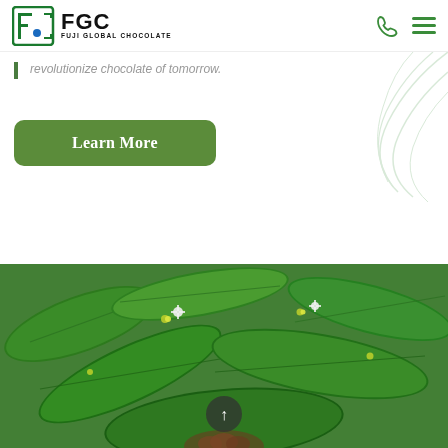FGC FUJI GLOBAL CHOCOLATE
revolutionize chocolate of tomorrow.
Learn More
[Figure (photo): Close-up photo of green plant leaves with yellow-green accents and white small flowers, with a hand holding what appears to be chocolate or cacao beans at the bottom center. A circular scroll-up button with an upward arrow is overlaid at the bottom center of the photo.]